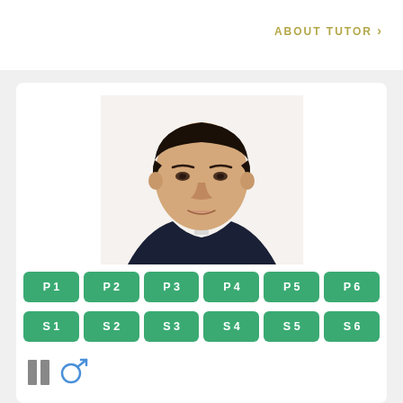ABOUT TUTOR >
[Figure (photo): Headshot of a young East Asian man wearing a dark suit jacket and white shirt, with short dark hair, smiling slightly, against a white background.]
P1
P2
P3
P4
P5
P6
S1
S2
S3
S4
S5
S6
[Figure (illustration): Two small vertical bar icon and a male gender symbol icon]